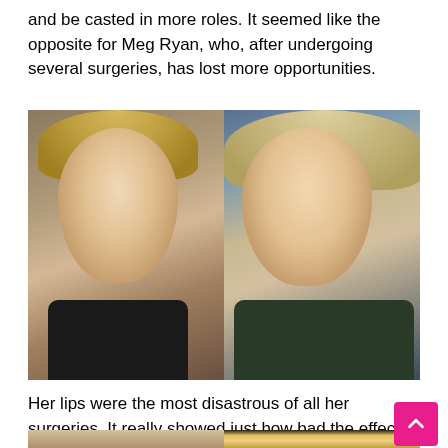and be casted in more roles. It seemed like the opposite for Meg Ryan, who, after undergoing several surgeries, has lost more opportunities.
[Figure (photo): Side-by-side comparison of Meg Ryan, younger on the left with short blonde hair and black top, older on the right with curly blonde hair and patterned top]
Her lips were the most disastrous of all her surgeries. It really showed just how bad the effects of the fillers were.
[Figure (photo): Bottom portion of two more comparison photos of Meg Ryan, partially visible]